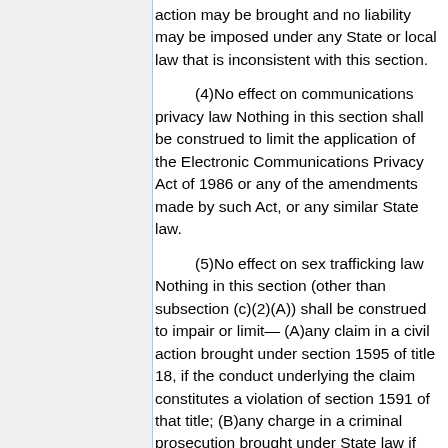action may be brought and no liability may be imposed under any State or local law that is inconsistent with this section.
(4)No effect on communications privacy law Nothing in this section shall be construed to limit the application of the Electronic Communications Privacy Act of 1986 or any of the amendments made by such Act, or any similar State law.
(5)No effect on sex trafficking law Nothing in this section (other than subsection (c)(2)(A)) shall be construed to impair or limit— (A)any claim in a civil action brought under section 1595 of title 18, if the conduct underlying the claim constitutes a violation of section 1591 of that title; (B)any charge in a criminal prosecution brought under State law if the conduct underlying the charge would constitute a violation of section 1591 of that title.